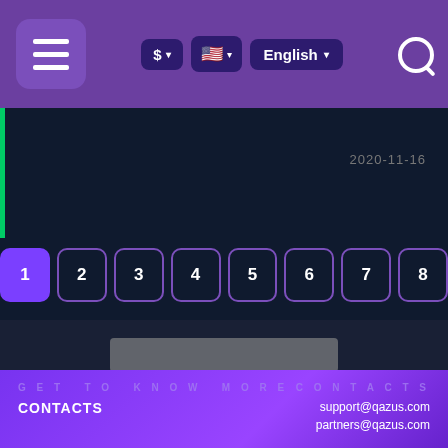[Figure (screenshot): Website header bar with purple background, hamburger menu button on left, currency/language controls in center, search icon on right]
2020-11-16
[Figure (other): Pagination controls showing numbered buttons 1-8, with button 1 highlighted in purple]
[Figure (other): Gray placeholder loading bars: one wide bar and a row of square tiles]
GET TO KNOW MORE
CONTACTS
CONTACTS
support@qazus.com
partners@qazus.com